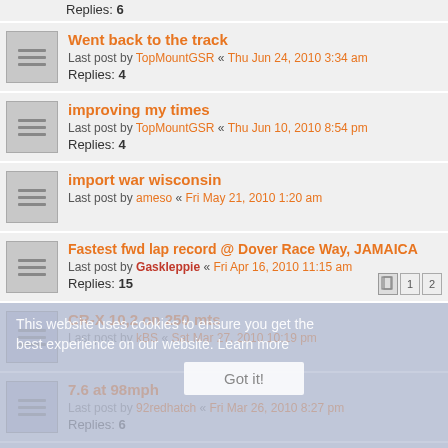Replies: 6
Went back to the track
Last post by TopMountGSR « Thu Jun 24, 2010 3:34 am
Replies: 4
improving my times
Last post by TopMountGSR « Thu Jun 10, 2010 8:54 pm
Replies: 4
import war wisconsin
Last post by ameso « Fri May 21, 2010 1:20 am
Fastest fwd lap record @ Dover Race Way, JAMAICA
Last post by Gaskleppie « Fri Apr 16, 2010 11:15 am
Replies: 15
CR-X 10,2 on 250 mts
Last post by kBS « Sat Mar 27, 2010 10:19 pm
7.6 at 98mph
Last post by 92redhatch « Fri Mar 26, 2010 8:27 pm
Replies: 6
BRMS Civic
Last post by jpjackson « Mon Dec 28, 2009 7:45 am
Replies: 19
This website uses cookies to ensure you get the best experience on our website. Learn more